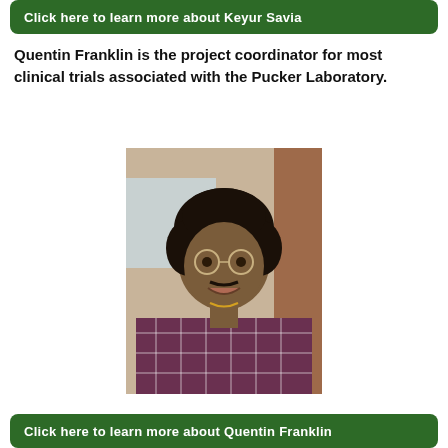Click here to learn more about Keyur Savia
Quentin Franklin is the project coordinator for most clinical trials associated with the Pucker Laboratory.
[Figure (photo): Portrait photo of Quentin Franklin, a young man with an afro hairstyle wearing round glasses and a plaid flannel shirt, smiling, photographed indoors against a brick background.]
Click here to learn more about Quentin Franklin